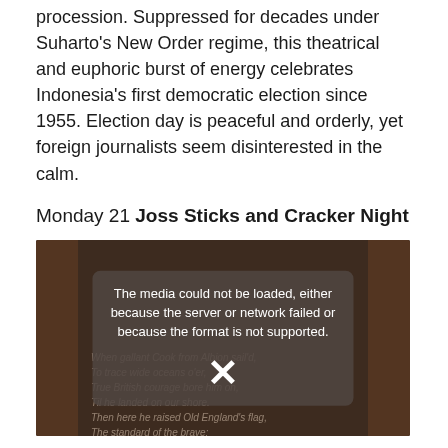procession. Suppressed for decades under Suharto's New Order regime, this theatrical and euphoric burst of energy celebrates Indonesia's first democratic election since 1955. Election day is peaceful and orderly, yet foreign journalists seem disinterested in the calm.
Monday 21 Joss Sticks and Cracker Night
[Figure (photo): A dark decorative image with ornate border panels on left and right sides. In the center is a media player error overlay showing 'The media could not be loaded, either because the server or network failed or because the format is not supported.' with an X icon. Behind the overlay, faint text shows verses about Old England's flag and Advance Australia Fair.]